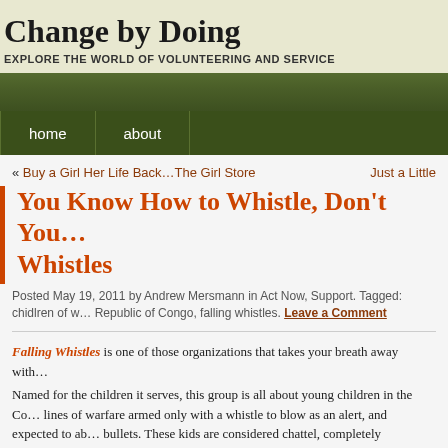Change by Doing
EXPLORE THE WORLD OF VOLUNTEERING AND SERVICE
home  about
« Buy a Girl Her Life Back…The Girl Store    Just a Little
You Know How to Whistle, Don't You… Whistles
Posted May 19, 2011 by Andrew Mersmann in Act Now, Support. Tagged: chidlren of w… Republic of Congo, falling whistles. Leave a Comment
Falling Whistles is one of those organizations that takes your breath away with… Named for the children it serves, this group is all about young children in the Co… lines of warfare armed only with a whistle to blow as an alert, and expected to ab… bullets. These kids are considered chattel, completely disposable. Kidnapped fro… and forced into battle, beaten, imprisoned, and discarded like trash. And they are… organizers of Falling Whistles accidentally fell into this issue, bumming around A…